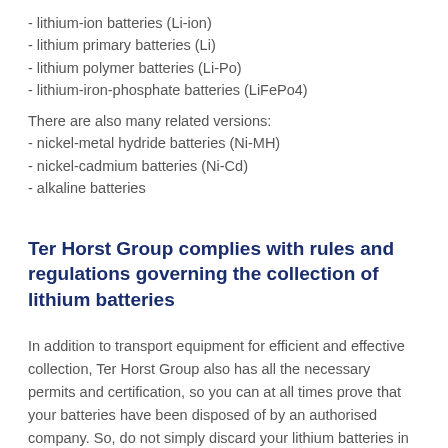- lithium-ion batteries (Li-ion)
- lithium primary batteries (Li)
- lithium polymer batteries (Li-Po)
- lithium-iron-phosphate batteries (LiFePo4)
There are also many related versions:
- nickel-metal hydride batteries (Ni-MH)
- nickel-cadmium batteries (Ni-Cd)
- alkaline batteries
Ter Horst Group complies with rules and regulations governing the collection of lithium batteries
In addition to transport equipment for efficient and effective collection, Ter Horst Group also has all the necessary permits and certification, so you can at all times prove that your batteries have been disposed of by an authorised company. So, do not simply discard your lithium batteries in general waste. We handle the entire mandatory waste administration process.